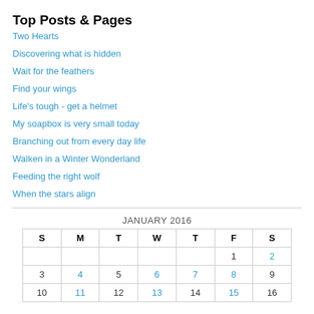Top Posts & Pages
Two Hearts
Discovering what is hidden
Wait for the feathers
Find your wings
Life's tough - get a helmet
My soapbox is very small today
Branching out from every day life
Walken in a Winter Wonderland
Feeding the right wolf
When the stars align
| S | M | T | W | T | F | S |
| --- | --- | --- | --- | --- | --- | --- |
|  |  |  |  |  | 1 | 2 |
| 3 | 4 | 5 | 6 | 7 | 8 | 9 |
| 10 | 11 | 12 | 13 | 14 | 15 | 16 |